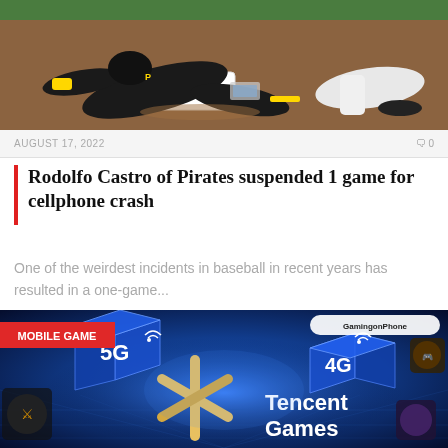[Figure (photo): Baseball player in Pittsburgh Pirates black uniform diving/sliding into base, another player in white uniform visible]
AUGUST 17, 2022   0
Rodolfo Castro of Pirates suspended 1 game for cellphone crash
One of the weirdest incidents in baseball in recent years has resulted in a one-game...
[Figure (photo): Tencent Games mobile game advertisement banner with 5G and 4G icons on blue futuristic background, GamingonPhone logo, MOBILE GAME red label]